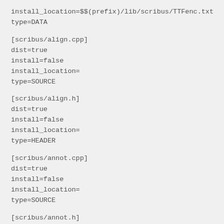install_location=$$(prefix)/lib/scribus/TTFenc.txt
type=DATA
[scribus/align.cpp]
dist=true
install=false
install_location=
type=SOURCE
[scribus/align.h]
dist=true
install=false
install_location=
type=HEADER
[scribus/annot.cpp]
dist=true
install=false
install_location=
type=SOURCE
[scribus/annot.h]
dist=true
install=false
install_location=
type=HEADER